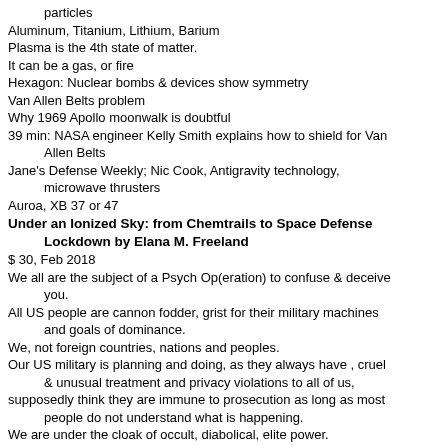particles
Aluminum, Titanium, Lithium, Barium
Plasma is the 4th state of matter.
It can be a gas, or fire
Hexagon: Nuclear bombs & devices show symmetry
Van Allen Belts problem
Why 1969 Apollo moonwalk is doubtful
39 min: NASA engineer Kelly Smith explains how to shield for Van Allen Belts
Jane's Defense Weekly; Nic Cook, Antigravity technology, microwave thrusters
Auroa, XB 37 or 47
Under an Ionized Sky: from Chemtrails to Space Defense Lockdown by Elana M. Freeland
$ 30, Feb 2018
We all are the subject of a Psych Op(eration) to confuse & deceive you.
All US people are cannon fodder, grist for their military machines and goals of dominance.
We, not foreign countries, nations and peoples.
Our US military is planning and doing, as they always have , cruel & unusual treatment and privacy violations to all of us,
supposedly think they are immune to prosecution as long as most people do not understand what is happening.
We are under the cloak of occult, diabolical, elite power.
Our awakening Consciousness MAY thwarting PTB's evil plan.
175 U.S. patents prove that geoengineering and weather control technologies are REAL … see the list